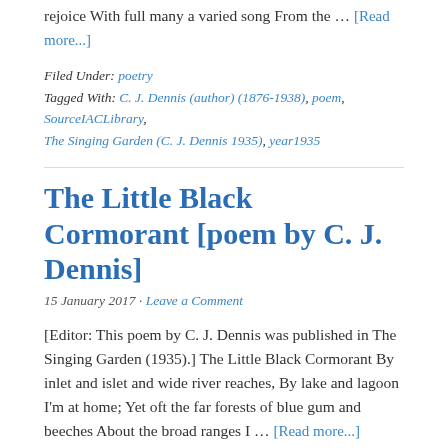rejoice With full many a varied song From the … [Read more...]
Filed Under: poetry
Tagged With: C. J. Dennis (author) (1876-1938), poem, SourceIACLibrary, The Singing Garden (C. J. Dennis 1935), year1935
The Little Black Cormorant [poem by C. J. Dennis]
15 January 2017 · Leave a Comment
[Editor: This poem by C. J. Dennis was published in The Singing Garden (1935).] The Little Black Cormorant By inlet and islet and wide river reaches, By lake and lagoon I'm at home; Yet oft the far forests of blue gum and beeches About the broad ranges I … [Read more...]